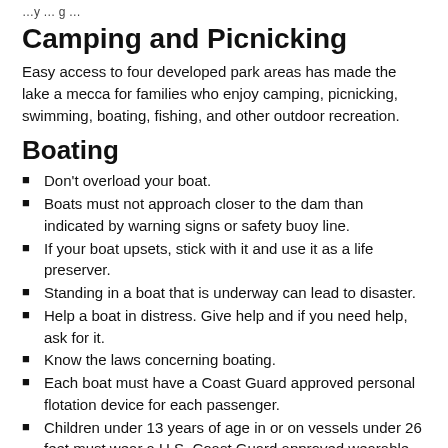…y … g …
Camping and Picnicking
Easy access to four developed park areas has made the lake a mecca for families who enjoy camping, picnicking, swimming, boating, fishing, and other outdoor recreation.
Boating
Don't overload your boat.
Boats must not approach closer to the dam than indicated by warning signs or safety buoy line.
If your boat upsets, stick with it and use it as a life preserver.
Standing in a boat that is underway can lead to disaster.
Help a boat in distress. Give help and if you need help, ask for it.
Know the laws concerning boating.
Each boat must have a Coast Guard approved personal flotation device for each passenger.
Children under 13 years of age in or on vessels under 26 feet must wear a U.S. Coast Guard approved wearable PFD while underway.